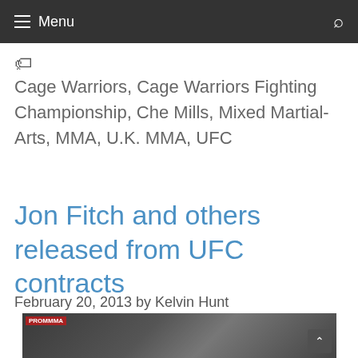Menu
Cage Warriors, Cage Warriors Fighting Championship, Che Mills, Mixed Martial-Arts, MMA, U.K. MMA, UFC
Jon Fitch and others released from UFC contracts
February 20, 2013 by Kelvin Hunt
[Figure (photo): UFC 153 weigh-in photo showing a fighter and ring girl with UFC branding visible]